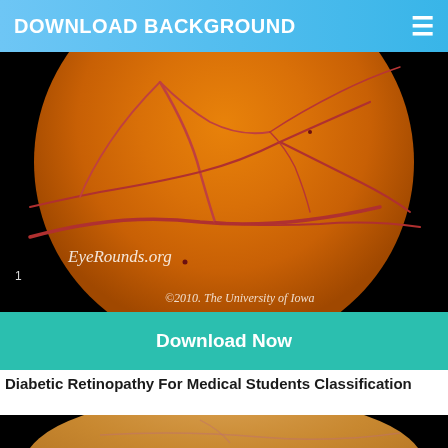DOWNLOAD BACKGROUND
[Figure (photo): Fundus/retinal photograph showing orange-colored retina with visible blood vessels branching across it, on black background. Watermark reads 'EyeRounds.org' and '©2010. The University of Iowa'. Number '1' at bottom-left.]
Download Now
Diabetic Retinopathy For Medical Students Classification
[Figure (photo): Second fundus/retinal photograph partially visible, showing lighter orange-yellow retina with faint blood vessels on black background.]